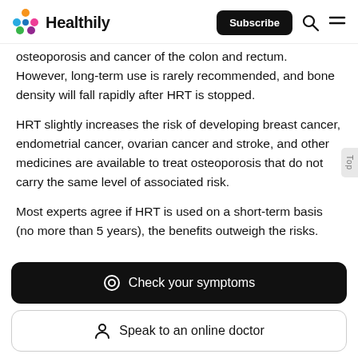Healthily — Subscribe
osteoporosis and cancer of the colon and rectum. However, long-term use is rarely recommended, and bone density will fall rapidly after HRT is stopped.
HRT slightly increases the risk of developing breast cancer, endometrial cancer, ovarian cancer and stroke, and other medicines are available to treat osteoporosis that do not carry the same level of associated risk.
Most experts agree if HRT is used on a short-term basis (no more than 5 years), the benefits outweigh the risks.
Check your symptoms
Speak to an online doctor